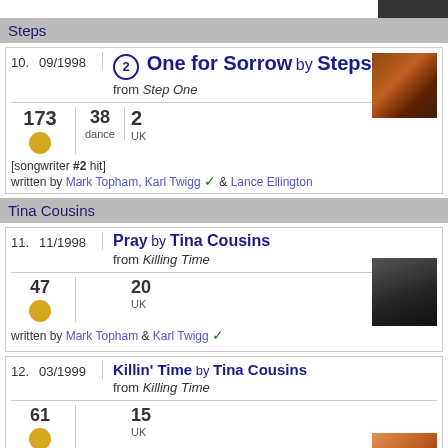Steps
| 10. | 09/1998 | ② One for Sorrow by Steps | from Step One |
| 173 / dance / 38 | 2 UK | songwriter #2 hit | written by Mark Topham, Karl Twigg ✓ & Lance Ellington |
Tina Cousins
| 11. | 11/1998 | Pray by Tina Cousins | from Killing Time |
| 47 | 20 UK | written by Mark Topham & Karl Twigg ✓ |
| 12. | 03/1999 | Killin' Time by Tina Cousins | from Killing Time |
| 61 | 15 UK | [rm] | written by Mark Topham & Karl Twigg ✓ |